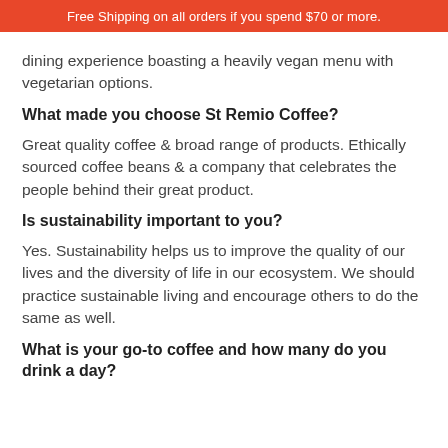Free Shipping on all orders if you spend $70 or more.
dining experience boasting a heavily vegan menu with vegetarian options.
What made you choose St Remio Coffee?
Great quality coffee & broad range of products. Ethically sourced coffee beans & a company that celebrates the people behind their great product.
Is sustainability important to you?
Yes. Sustainability helps us to improve the quality of our lives and the diversity of life in our ecosystem. We should practice sustainable living and encourage others to do the same as well.
What is your go-to coffee and how many do you drink a day?